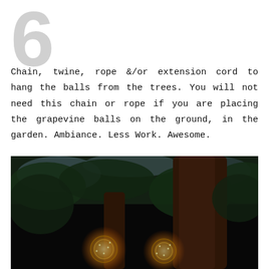Chain, twine, rope &/or extension cord to hang the balls from the trees. You will not need this chain or rope if you are placing the grapevine balls on the ground, in the garden.  Ambiance.  Less Work.  Awesome.
[Figure (photo): Night photo of glowing grapevine balls with string lights hanging among large tree trunks and green foliage, viewed from below looking up.]